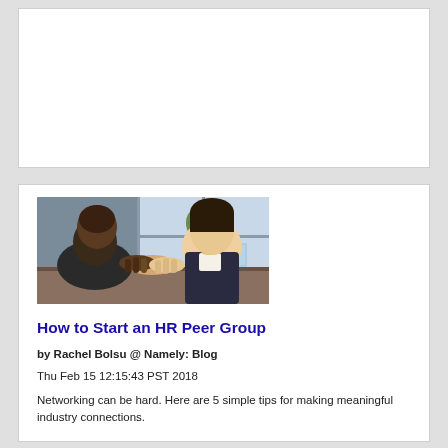[Figure (photo): Empty white card / placeholder area at top of page]
[Figure (photo): Two people shaking hands across a table in a cafe setting, networking scene]
How to Start an HR Peer Group
by Rachel Bolsu @ Namely: Blog
Thu Feb 15 12:15:43 PST 2018
Networking can be hard. Here are 5 simple tips for making meaningful industry connections.